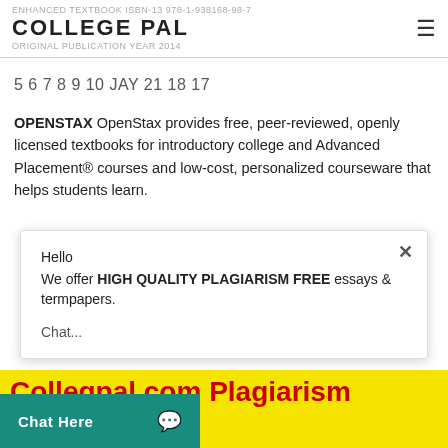ENHANCED TEXTBOOK ISBN-13 978-1-938168-98-7 COLLEGE PAL ORIGINAL PUBLICATION YEAR 2014
5 6 7 8 9 10 JAY 21 18 17
OPENSTAX OpenStax provides free, peer-reviewed, openly licensed textbooks for introductory college and Advanced Placement® courses and low-cost, personalized courseware that helps students learn.
Hello
We offer HIGH QUALITY PLAGIARISM FREE essays & termpapers.

Chat...
Collegpal.com Plagiarism Free papers